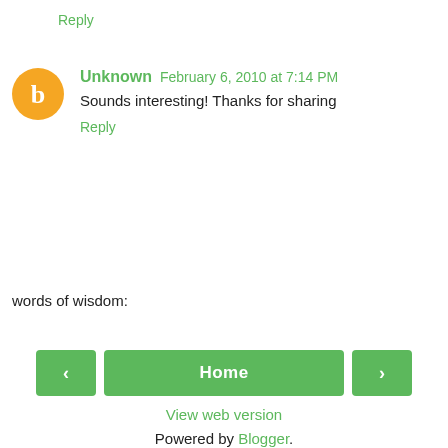Reply
Unknown  February 6, 2010 at 7:14 PM
Sounds interesting! Thanks for sharing
Reply
words of wisdom:
< Home >
View web version
Powered by Blogger.